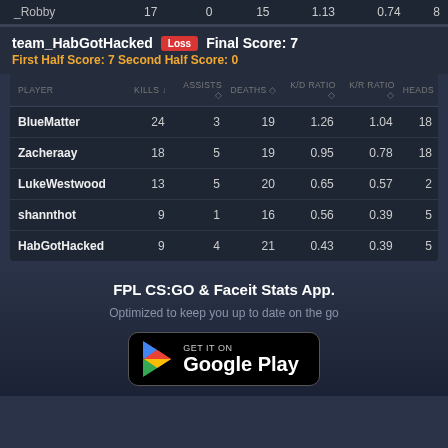| PLAYER | KILLS | ASSISTS | DEATHS | K/D RATIO | K/R RATIO | HEADS |
| --- | --- | --- | --- | --- | --- | --- |
| _Robby | 17 | 0 | 15 | 1.13 | 0.74 | 8 |
team_HabGotHacked  Loss  Final Score: 7
First Half Score: 7 Second Half Score: 0
| PLAYER | KILLS | ASSISTS | DEATHS | K/D RATIO | K/R RATIO | HEADS |
| --- | --- | --- | --- | --- | --- | --- |
| BlueMatter | 24 | 3 | 19 | 1.26 | 1.04 | 18 |
| Zacheraay | 18 | 5 | 19 | 0.95 | 0.78 | 18 |
| LukeWestwood | 13 | 5 | 20 | 0.65 | 0.57 | 2 |
| shannthot | 9 | 1 | 16 | 0.56 | 0.39 | 5 |
| HabGotHacked | 9 | 4 | 21 | 0.43 | 0.39 | 5 |
FPL CS:GO & Faceit Stats App.
Optimized to keep you up to date on the go
[Figure (logo): Google Play Store download button with Play icon]